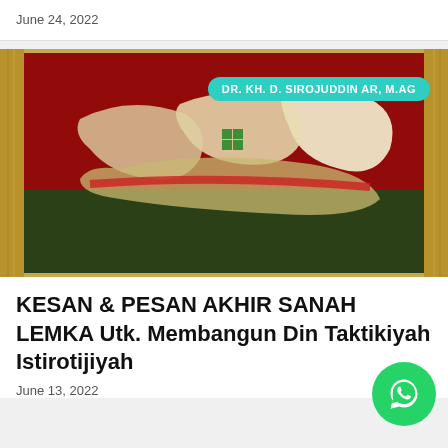June 24, 2022
[Figure (photo): Islamic calligraphy painting in a gold frame showing Arabic text on a red and green background. Author badge reads: DR. KH. D. SIROJUDDIN AR, M.AG]
KESAN & PESAN AKHIR SANAH LEMKA Utk. Membangun Din Taktikiyah Istirotijiyah
June 13, 2022